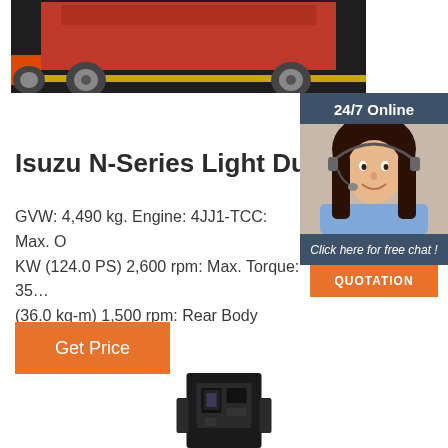[Figure (photo): Red truck/vehicle on dark floor with yellow line, partially visible from front/side angle]
[Figure (infographic): 24/7 Online customer service widget with female agent wearing headset, blue-grey background, orange QUOTATION button]
Isuzu N-Series Light Duty T…
GVW: 4,490 kg. Engine: 4JJ1-TCC: Max. O KW (124.0 PS) 2,600 rpm: Max. Torque: 35… (36.0 kg-m) 1,500 rpm: Rear Body Length: 3…
[Figure (photo): Orange button labeled 'Get Price']
[Figure (photo): Black industrial machine/equipment partially visible at bottom center]